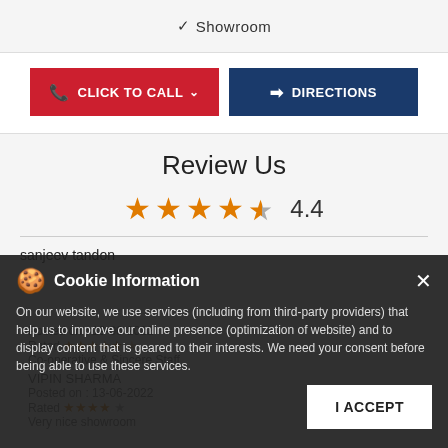✓ Showroom
[Figure (other): Click to Call and Directions buttons]
Review Us
4.4 stars rating
sanjeev tandon
Posted on : 19-06-2022
Rated ★★★★★
Co-operative & Sincere Staff
VIPIN SHARMA
Posted on : 13-06-2022
Rated ★★★★
Very nice showroom
Cookie Information
On our website, we use services (including from third-party providers) that help us to improve our online presence (optimization of website) and to display content that is geared to their interests. We need your consent before being able to use these services.
I ACCEPT